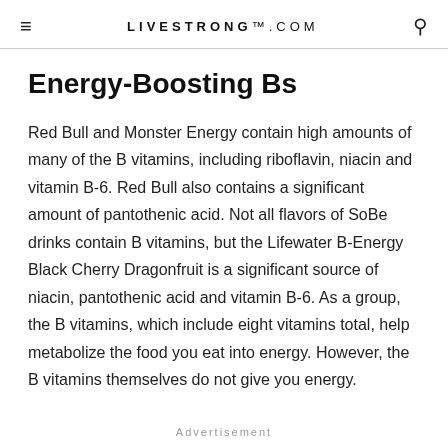LIVESTRONG.COM
Energy-Boosting Bs
Red Bull and Monster Energy contain high amounts of many of the B vitamins, including riboflavin, niacin and vitamin B-6. Red Bull also contains a significant amount of pantothenic acid. Not all flavors of SoBe drinks contain B vitamins, but the Lifewater B-Energy Black Cherry Dragonfruit is a significant source of niacin, pantothenic acid and vitamin B-6. As a group, the B vitamins, which include eight vitamins total, help metabolize the food you eat into energy. However, the B vitamins themselves do not give you energy.
Advertisement